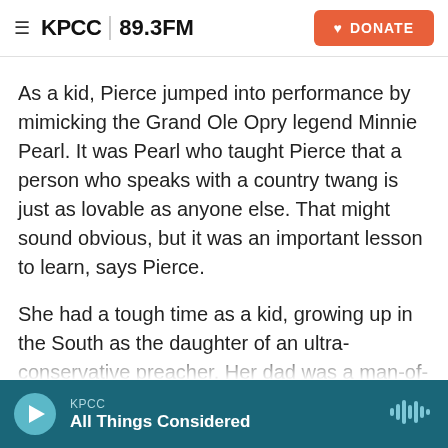≡ KPCC 89.3FM | DONATE
As a kid, Pierce jumped into performance by mimicking the Grand Ole Opry legend Minnie Pearl. It was Pearl who taught Pierce that a person who speaks with a country twang is just as lovable as anyone else. That might sound obvious, but it was an important lesson to learn, says Pierce.
She had a tough time as a kid, growing up in the South as the daughter of an ultra-conservative preacher. Her dad was a man-of-the-cloth who suffered in silence from bipolar disorder and turned to drinking and abusive behaviors
KPCC | All Things Considered